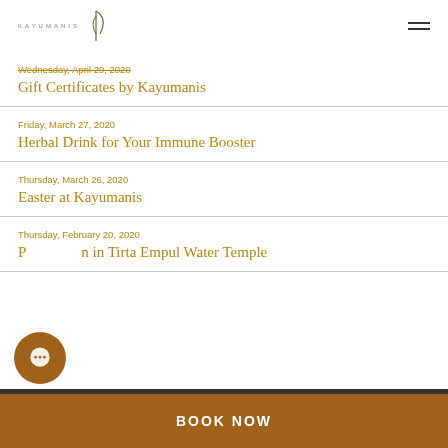KAYUMANIS
Wednesday, April 29, 2020
Gift Certificates by Kayumanis
Friday, March 27, 2020
Herbal Drink for Your Immune Booster
Thursday, March 26, 2020
Easter at Kayumanis
Thursday, February 20, 2020
Purification in Tirta Empul Water Temple
BOOK NOW